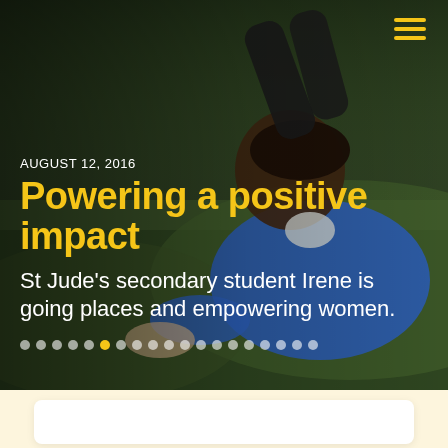[Figure (photo): A young African girl in a blue school uniform lying on grass, reading or studying. The background is green grass/outdoor setting. Menu icon (three yellow horizontal lines) in top-right corner.]
AUGUST 12, 2016
Powering a positive impact
St Jude's secondary student Irene is going places and empowering women.
• • • • • • • • • • • • • • • • • • •